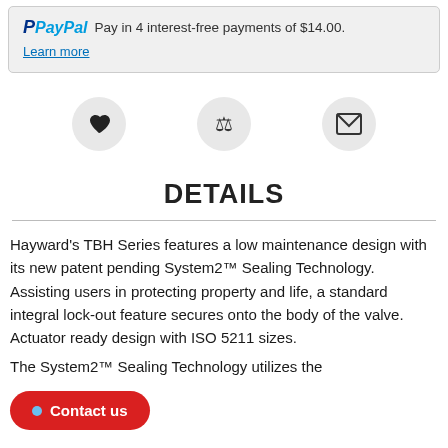PayPal Pay in 4 interest-free payments of $14.00. Learn more
[Figure (other): Three circular icon buttons: heart (wishlist), scales (compare), envelope (email)]
DETAILS
Hayward's TBH Series features a low maintenance design with its new patent pending System2™ Sealing Technology. Assisting users in protecting property and life, a standard integral lock-out feature secures onto the body of the valve. Actuator ready design with ISO 5211 sizes.
The System2™ Sealing Technology utilizes the
Contact us